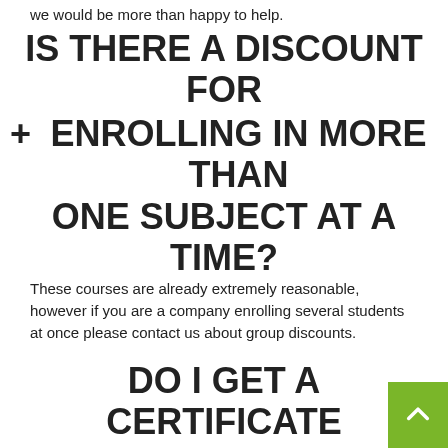we would be more than happy to help.
+ IS THERE A DISCOUNT FOR ENROLLING IN MORE THAN ONE SUBJECT AT A TIME?
These courses are already extremely reasonable, however if you are a company enrolling several students at once please contact us about group discounts.
+ DO I GET A CERTIFICATE FOR COMPLETING THESE COURSES?